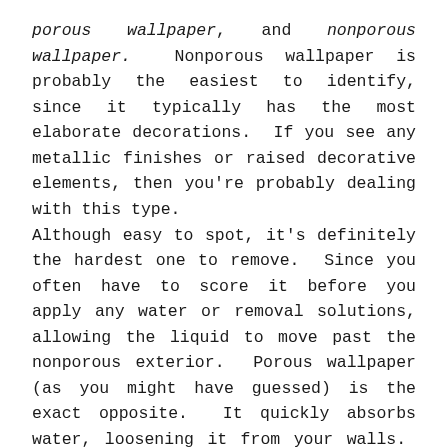porous wallpaper, and nonporous wallpaper. Nonporous wallpaper is probably the easiest to identify, since it typically has the most elaborate decorations. If you see any metallic finishes or raised decorative elements, then you're probably dealing with this type.
Although easy to spot, it's definitely the hardest one to remove. Since you often have to score it before you apply any water or removal solutions, allowing the liquid to move past the nonporous exterior. Porous wallpaper (as you might have guessed) is the exact opposite. It quickly absorbs water, loosening it from your walls. You can test whether or not you have this type by applying water to the surface and watching whether it soaks up or drips off.
Last, but not least, there's dry-strippable wallpaper. The